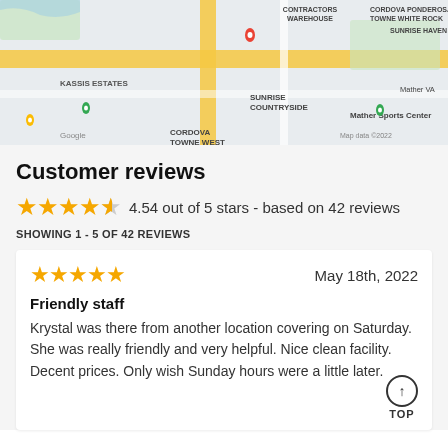[Figure (map): Google Maps view showing area around Contractor's Warehouse, Cordova Towne, Ponderosa White Rock, Sunrise Haven, Kassis Estates, Sunrise Countryside, Mather Sports Center, The Rink, K1 Speed. Red map pin visible. Map data ©2022.]
Customer reviews
4.54 out of 5 stars - based on 42 reviews
SHOWING 1 - 5 OF 42 REVIEWS
May 18th, 2022
Friendly staff
Krystal was there from another location covering on Saturday. She was really friendly and very helpful. Nice clean facility. Decent prices. Only wish Sunday hours were a little later.